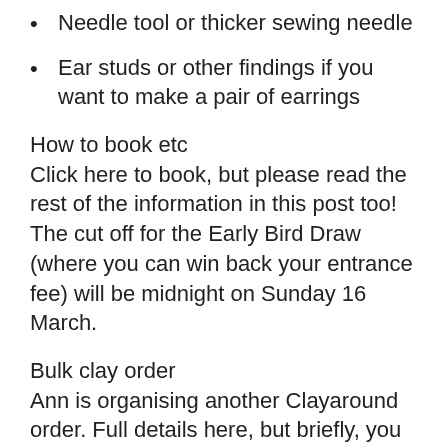Needle tool or thicker sewing needle
Ear studs or other findings if you want to make a pair of earrings
How to book etc
Click here to book, but please read the rest of the information in this post too!  The cut off for the Early Bird Draw (where you can win back your entrance fee) will be midnight on Sunday 16 March.
Bulk clay order
Ann is organising another Clayaround order. Full details here, but briefly, you can chose your clay, tools etc  at www.clayaround.com but place your order with Ann